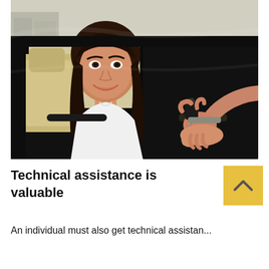[Figure (photo): A smiling young woman with long brown hair sitting inside a black SUV, leaning out the window, receiving car keys handed to her by another person's hand (partially visible from the right). She is wearing a white shirt and appears happy. The interior of the car shows beige/cream leather seats.]
Technical assistance is valuable
An individual must also get technical assistan...